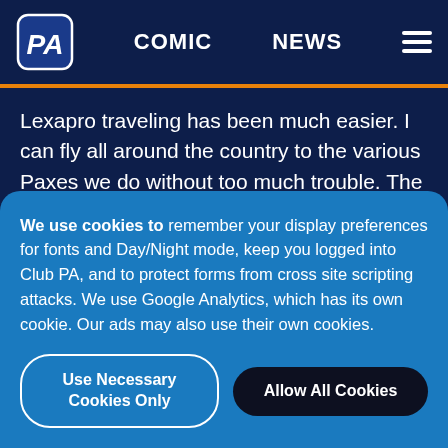COMIC  NEWS
Lexapro traveling has been much easier. I can fly all around the country to the various Paxes we do without too much trouble. The one exception being PAX Australia. The flight itself is so long and the destination is so far from my home and my family. The truth is that this particular trip cuts right through my Lexapro like a Vibroblade through
We use cookies to remember your display preferences for fonts and Day/Night mode, keep you logged into Club PA, and to protect forms from cross site scripting attacks. We use Google Analytics, which has its own cookie. Our ads may also use their own cookies.
Use Necessary Cookies Only
Allow All Cookies